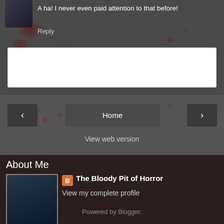A ha! I never even paid attention to that before!
Reply
Enter Comment
Home
View web version
About Me
The Bloody Pit of Horror
View my complete profile
Powered by Blogger.